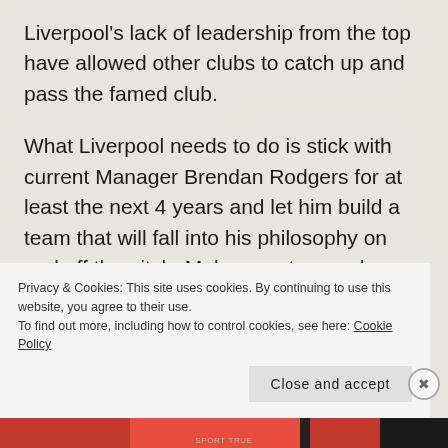Liverpool's lack of leadership from the top have allowed other clubs to catch up and pass the famed club.
What Liverpool needs to do is stick with current Manager Brendan Rodgers for at least the next 4 years and let him build a team that will fall into his philosophy on and off the pitch. Make smarter purchases of players and, here's the tough part,
Privacy & Cookies: This site uses cookies. By continuing to use this website, you agree to their use.
To find out more, including how to control cookies, see here: Cookie Policy